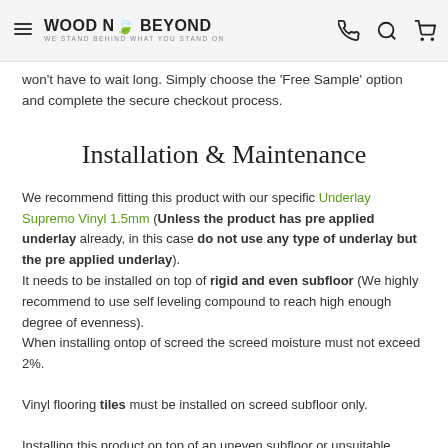WOOD N BEYOND — WE STAND BEHIND WHAT YOU STAND ON
won't have to wait long. Simply choose the 'Free Sample' option and complete the secure checkout process.
Installation & Maintenance
We recommend fitting this product with our specific Underlay Supremo Vinyl 1.5mm (Unless the product has pre applied underlay already, in this case do not use any type of underlay but the pre applied underlay). It needs to be installed on top of rigid and even subfloor (We highly recommend to use self leveling compound to reach high enough degree of evenness). When installing ontop of screed the screed moisture must not exceed 2%.
Vinyl flooring tiles must be installed on screed subfloor only.
Installing this product on top of an uneven subfloor or unsuitable